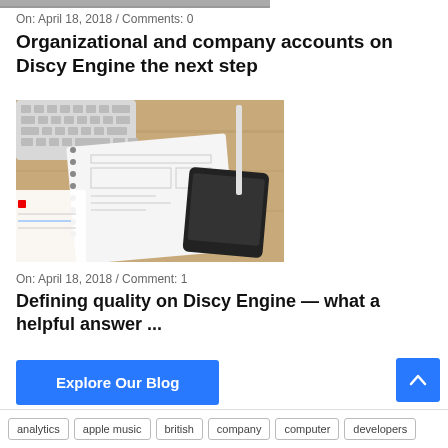[Figure (photo): Cropped top edge of a photo showing what appears to be a desk scene (keyboard or similar), only a sliver visible at the top.]
On: April 18, 2018 / Comments: 0
Organizational and company accounts on Discy Engine the next step
[Figure (photo): Photo of notebooks with wireframe sketches, a spiral-bound notebook, and a smartphone on a wooden desk.]
On: April 18, 2018 / Comment: 1
Defining quality on Discy Engine — what a helpful answer ...
Explore Our Blog
analytics  apple music  british  company  computer  developers